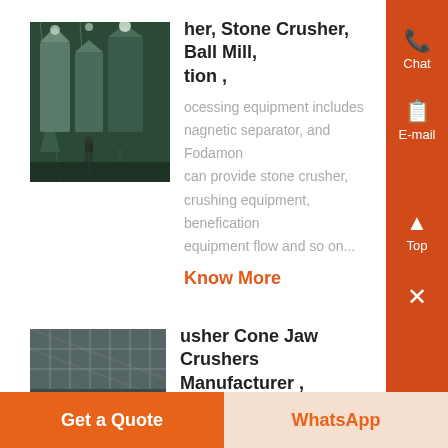[Figure (photo): Industrial processing facility interior with large silos and metal structures, green-tinted lighting]
her, Stone Crusher, Ball Mill, tion ,
ocessing equipment includes agnetic separator, and Fodamon can provide stone crusher, crushing equipment, benefication equipment flow and so on...
Know More
[Figure (photo): Industrial crusher or mining facility with metal framework and roof structure]
usher Cone Jaw Crushers Manufacturer ,
her JXSC company stone rock include cone crusher, jaw crusher,